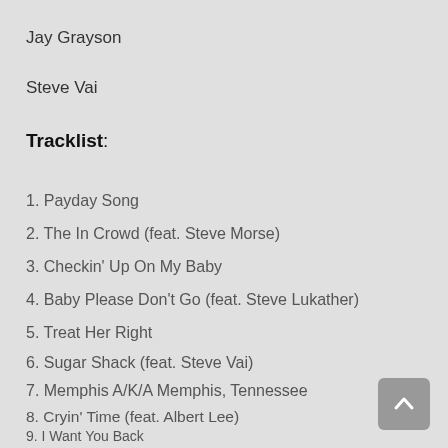Jay Grayson
Steve Vai
Tracklist:
1. Payday Song
2. The In Crowd (feat. Steve Morse)
3. Checkin' Up On My Baby
4. Baby Please Don't Go (feat. Steve Lukather)
5. Treat Her Right
6. Sugar Shack (feat. Steve Vai)
7. Memphis A/K/A Memphis, Tennessee
8. Cryin' Time (feat. Albert Lee)
9. I Want You Back
10. Disney Medley (feat. John Petrucci)